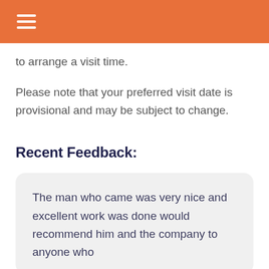to arrange a visit time.
Please note that your preferred visit date is provisional and may be subject to change.
Recent Feedback:
The man who came was very nice and excellent work was done would recommend him and the company to anyone who